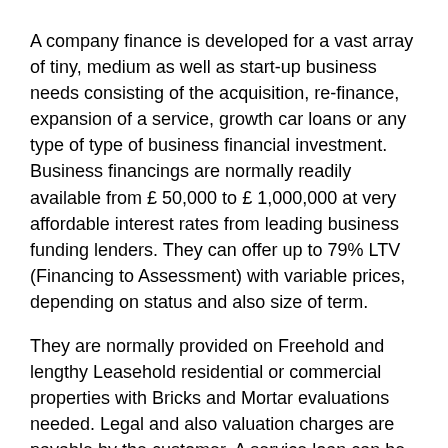A company finance is developed for a vast array of tiny, medium as well as start-up business needs consisting of the acquisition, re-finance, expansion of a service, growth car loans or any type of type of business financial investment. Business financings are normally readily available from £ 50,000 to £ 1,000,000 at very affordable interest rates from leading business funding lenders. They can offer up to 79% LTV (Financing to Assessment) with variable prices, depending on status and also size of term.
They are normally provided on Freehold and lengthy Leasehold residential or commercial properties with Bricks and Mortar evaluations needed. Legal and also valuation charges are payable by the customer. A service loan can be safeguarded by all types of UK company home, commercial and residential properties.
Auto loan